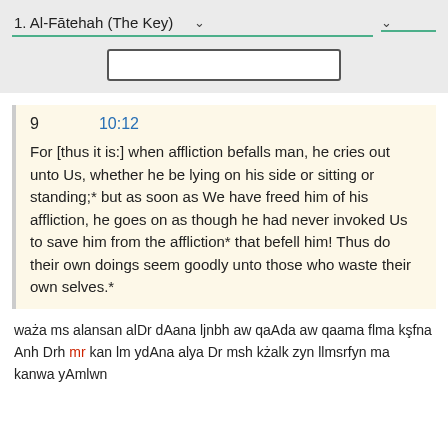1. Al-Fātehah (The Key)
9   10:12
For [thus it is:] when affliction befalls man, he cries out unto Us, whether he be lying on his side or sitting or standing;* but as soon as We have freed him of his affliction, he goes on as though he had never invoked Us to save him from the affliction* that befell him! Thus do their own doings seem goodly unto those who waste their own selves.*
waża ms alansan alDr dAana ljnbh aw qaAda aw qaama flma kşfna Anh Drh mr kan lm ydAna alya Dr msh kżalk zyn llmsrfyn ma kanwa yAmlwn